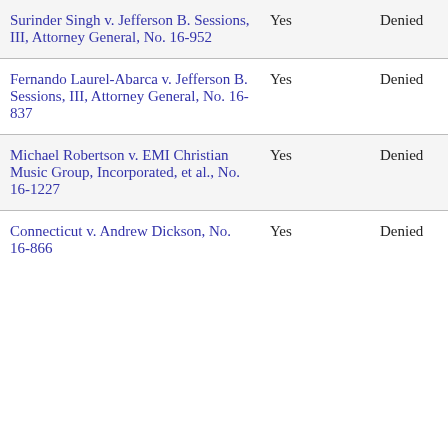| Case | Cert Granted | Cert Disposed | Merits Disposed | Circuit |
| --- | --- | --- | --- | --- |
| Surinder Singh v. Jefferson B. Sessions, III, Attorney General, No. 16-952 | Yes | Denied | Denied | Ninth Circuit |
| Fernando Laurel-Abarca v. Jefferson B. Sessions, III, Attorney General, No. 16-837 | Yes | Denied | Denied | Ninth Circuit |
| Michael Robertson v. EMI Christian Music Group, Incorporated, et al., No. 16-1227 | Yes | Denied | Rehearing Disposed | Second Circuit |
| Connecticut v. Andrew Dickson, No. 16-866 | Yes | Denied | Denied | Connecticut |